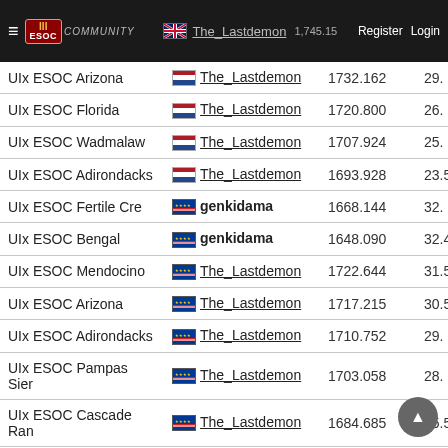ESOC Community — The_Lastdemon — Register Login
| Map | Player | Score | Extra |
| --- | --- | --- | --- |
| UIx ESOC Arizona | The_Lastdemon | 1732.162 | 29. |
| UIx ESOC Florida | The_Lastdemon | 1720.800 | 26. |
| UIx ESOC Wadmalaw | The_Lastdemon | 1707.924 | 25. |
| UIx ESOC Adirondacks | The_Lastdemon | 1693.928 | 23.5 |
| UIx ESOC Fertile Cre | genkidama | 1668.144 | 32. |
| UIx ESOC Bengal | genkidama | 1648.090 | 32.4 |
| UIx ESOC Mendocino | The_Lastdemon | 1722.644 | 31.5 |
| UIx ESOC Arizona | The_Lastdemon | 1717.215 | 30.5 |
| UIx ESOC Adirondacks | The_Lastdemon | 1710.752 | 29. |
| UIx ESOC Pampas Sier | The_Lastdemon | 1703.058 | 28. |
| UIx ESOC Cascade Ran | The_Lastdemon | 1684.685 | 25.5 |